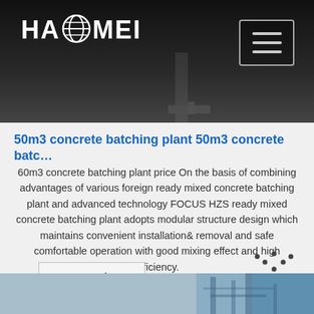[Figure (screenshot): Dark header/hero area with Haomei logo on left and hamburger menu button on right]
50m3 concrete batching plant 50m3 concrete batc…
60m3 concrete batching plant price On the basis of combining advantages of various foreign ready mixed concrete batching plant and advanced technology FOCUS HZS ready mixed concrete batching plant adopts modular structure design which maintains convenient installation& removal and safe comfortable operation with good mixing effect and high efficiency.
[Figure (screenshot): Get Price button — bordered rectangle with text 'Get Price']
[Figure (logo): TOP back-to-top button with dotted arc above 'TOP' text]
[Figure (photo): Bottom strip showing industrial equipment / concrete batching plant structure in blue-grey tones]